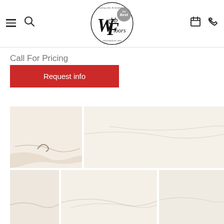Webb Floors - navigation header with logo, hamburger menu, search, calendar and phone icons
Call For Pricing
Request info
[Figure (photo): Gallery of marble/stone floor tile samples showing white/cream marble with subtle grey veining, displayed in a grid layout with two rows]
[Figure (other): Plus/add icon button in grey, for adding more images to view]